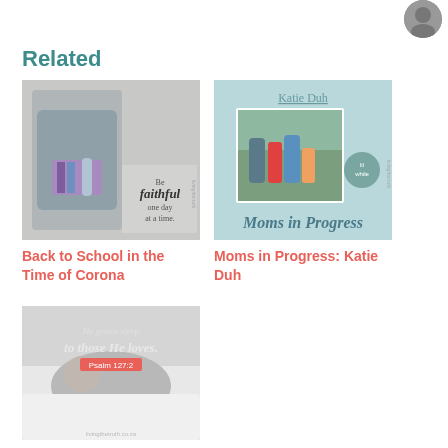[Figure (photo): Circular avatar/profile photo thumbnail in top right corner]
Related
[Figure (photo): Photo of person holding books with text overlay: 'Be faithful one day at a time.']
Back to School in the Time of Corona
[Figure (photo): Light blue card with 'Katie Duh' text, family photo, and 'Moms in Progress' script text]
Moms in Progress: Katie Duh
[Figure (photo): Black and white photo of sleeping person with script text 'He grants sleep to those He loves. Psalm 127:2']